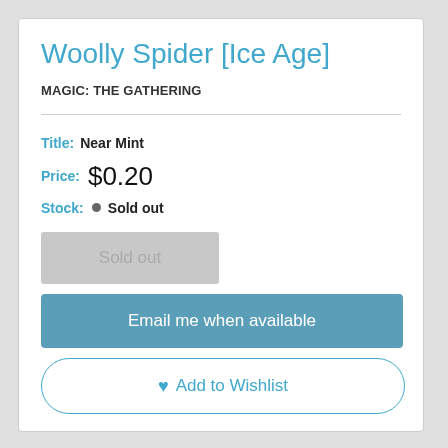Woolly Spider [Ice Age]
MAGIC: THE GATHERING
Title: Near Mint
Price: $0.20
Stock: Sold out
Sold out
Email me when available
Add to Wishlist